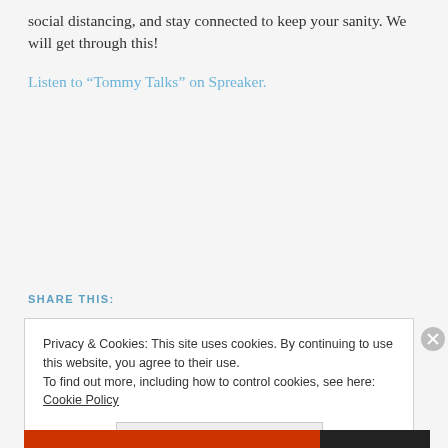social distancing, and stay connected to keep your sanity. We will get through this!
Listen to “Tommy Talks” on Spreaker.
SHARE THIS:
Privacy & Cookies: This site uses cookies. By continuing to use this website, you agree to their use.
To find out more, including how to control cookies, see here: Cookie Policy
Close and accept